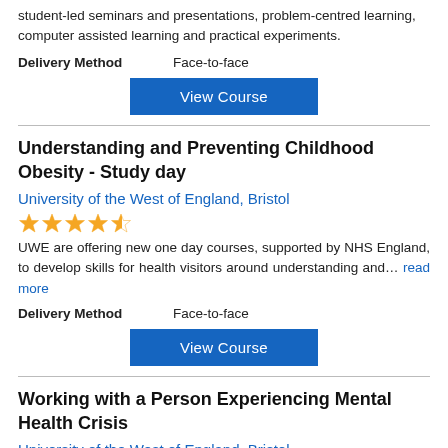student-led seminars and presentations, problem-centred learning, computer assisted learning and practical experiments.
Delivery Method   Face-to-face
View Course
Understanding and Preventing Childhood Obesity - Study day
University of the West of England, Bristol
[Figure (other): 4.5 out of 5 stars rating]
UWE are offering new one day courses, supported by NHS England, to develop skills for health visitors around understanding and… read more
Delivery Method   Face-to-face
View Course
Working with a Person Experiencing Mental Health Crisis
University of the West of England, Bristol
[Figure (other): 4.5 out of 5 stars rating]
This course is aimed at those working, or looking to work, in intensive or crisis teams.
Delivery Method